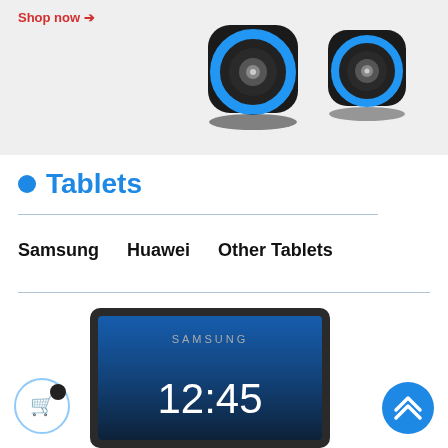[Figure (photo): Philips black and blue computer speakers on a light gray background with 'Shop now →' link in red text]
Tablets
Samsung
Huawei
Other Tablets
[Figure (photo): Samsung tablet showing the time 12:45 on the lock screen, partially visible at the bottom of the page]
[Figure (infographic): Shopping cart circular button icon at bottom left and blue upward-arrow circular button at bottom right]